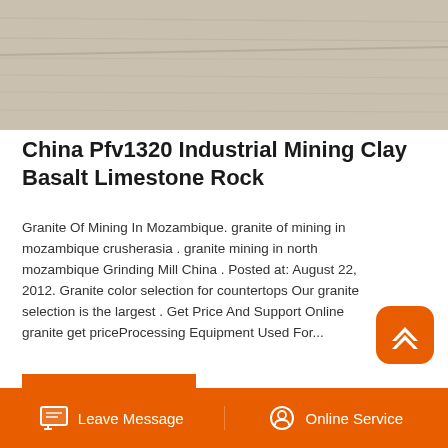[Figure (photo): Close-up of granite or stone surface texture with subtle linear markings, light beige/grey tones]
China Pfv1320 Industrial Mining Clay Basalt Limestone Rock
Granite Of Mining In Mozambique. granite of mining in mozambique crusherasia . granite mining in north mozambique Grinding Mill China . Posted at: August 22, 2012. Granite color selection for countertops Our granite selection is the largest . Get Price And Support Online granite get priceProcessing Equipment Used For...
READ MORE
[Figure (photo): Construction or mining equipment scene with orange machinery/bucket visible against a grey building background]
Leave Message
Online Service